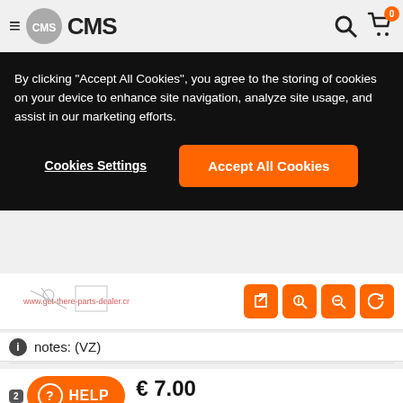CMS — Navigation header with hamburger menu, logo, search icon, and cart icon (badge: 0)
By clicking "Accept All Cookies", you agree to the storing of cookies on your device to enhance site navigation, analyze site usage, and assist in our marketing efforts.
Cookies Settings
Accept All Cookies
[Figure (screenshot): Partial product diagram image showing mechanical parts/clip schematic with a URL watermark]
notes: (VZ)
€ 7.00
(USD 7.04 ,incl. 0% VAT)
HELP
CLIP